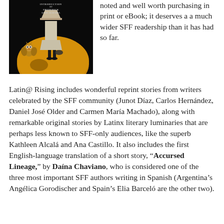[Figure (illustration): Book cover for Latin@ Rising with introduction by Frederick Luis Aldama. Dark background showing a figure in a dress with a lamp shade for a head, an owl perched on a large golden/orange sphere, and a small dark bird silhouette on the sphere.]
noted and well worth purchasing in print or eBook; it deserves a a much wider SFF readership than it has had so far.
Latin@ Rising includes wonderful reprint stories from writers celebrated by the SFF community (Junot Díaz, Carlos Hernández, Daniel José Older and Carmen María Machado), along with remarkable original stories by Latinx literary luminaries that are perhaps less known to SFF-only audiences, like the superb Kathleen Alcalá and Ana Castillo. It also includes the first English-language translation of a short story, “Accursed Lineage,” by Daína Chaviano, who is considered one of the three most important SFF authors writing in Spanish (Argentina’s Angélica Gorodischer and Spain’s Elia Barceló are the other two).